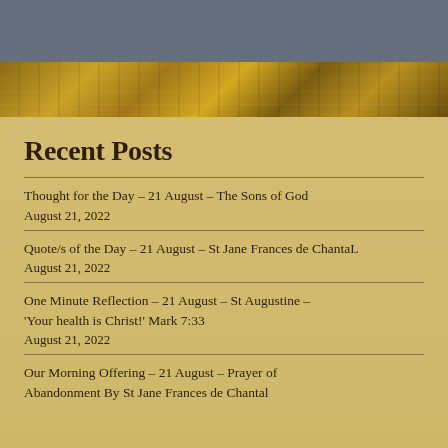Recent Posts
Thought for the Day – 21 August – The Sons of God
August 21, 2022
Quote/s of the Day – 21 August – St Jane Frances de ChantaL
August 21, 2022
One Minute Reflection – 21 August – St Augustine – 'Your health is Christ!' Mark 7:33
August 21, 2022
Our Morning Offering – 21 August – Prayer of Abandonment By St Jane Frances de Chantal